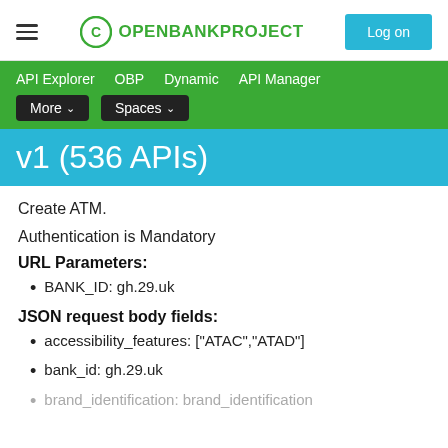OPENBANKPROJECT — Log on
API Explorer   OBP   Dynamic   API Manager   More ▾   Spaces ▾
v1 (536 APIs)
Create ATM.
Authentication is Mandatory
URL Parameters:
BANK_ID: gh.29.uk
JSON request body fields:
accessibility_features: ["ATAC","ATAD"]
bank_id: gh.29.uk
brand_identification: brand_identification